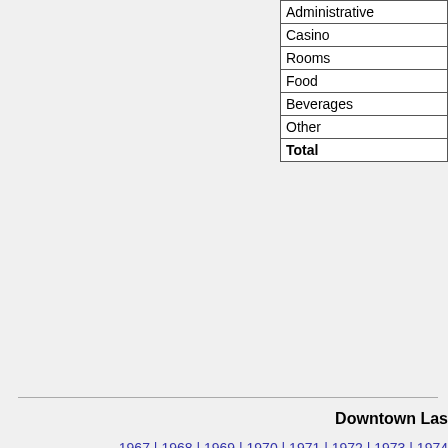| Administrative |
| Casino |
| Rooms |
| Food |
| Beverages |
| Other |
| Total |
Downtown Las
1967 | 1968 | 1969 | 1970 | 1971 | 1972 | 1973 | 1974
1986 | 1987 | 1988 | 1989 | 1990 | 1991 | 1992 | 1993
2005 | 2006
Nevada | Las Vegas Strip | Downtown LV | Reno/Sparks |
All data compiled from Nevada Gaming Abstract. Carson City, Nevada
This project was sponsored b
UNLV Special Collections | University Libraries | UNLV home